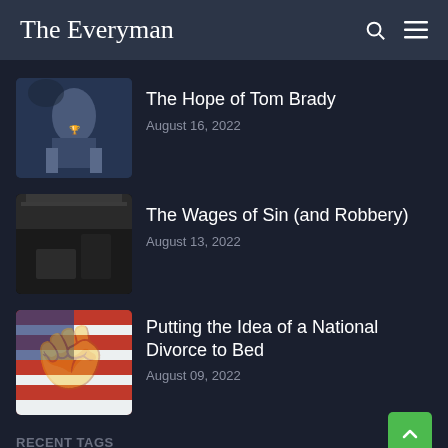The Everyman
[Figure (photo): Tom Brady celebrating with trophy raised]
The Hope of Tom Brady
August 16, 2022
[Figure (photo): Store robbery scene with people in store]
The Wages of Sin (and Robbery)
August 13, 2022
[Figure (photo): American flag with symbol overlay]
Putting the Idea of a National Divorce to Bed
August 09, 2022
RECENT TAGS